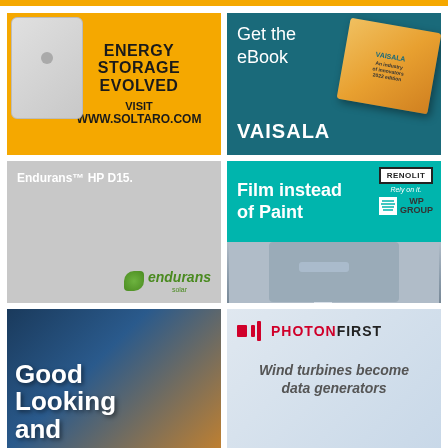[Figure (illustration): Soltaro energy storage advertisement with white battery device and orange background. Text: ENERGY STORAGE EVOLVED, VISIT WWW.SOLTARO.COM]
[Figure (illustration): Vaisala eBook advertisement on teal background with book image. Text: Get the eBook, VAISALA]
[Figure (illustration): Endurans solar panel advertisement on grey background. Text: Endurans HP D15. with endurans solar logo]
[Figure (illustration): Renolit / WP Group Film instead of Paint advertisement on teal background with wind turbine photo below]
[Figure (illustration): Good Looking and advertisement with solar panels and sky background]
[Figure (illustration): PhotonFirst advertisement on grey/blue background. Text: PHOTONFIRST, Wind turbines become data generators]